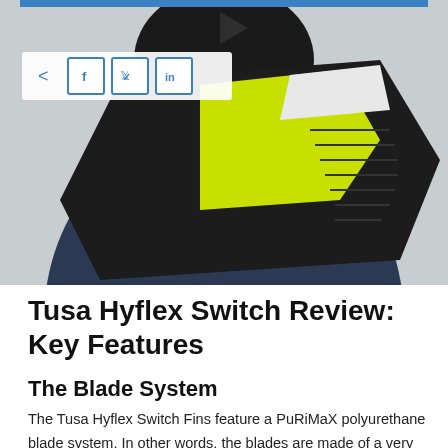[Figure (photo): Video thumbnail showing a person holding TUSA Hyflex Switch fins (black and yellow-green), with a play button at top, share icons overlay on left, and a blue bar at the top of the frame.]
Tusa Hyflex Switch Review: Key Features
The Blade System
The Tusa Hyflex Switch Fins feature a PuRiMaX polyurethane blade system. In other words, the blades are made of a very durable material to ensure maximum longevity. At the same time, the blades are fairly flexible and have a high level of memory. This helps to provide you with